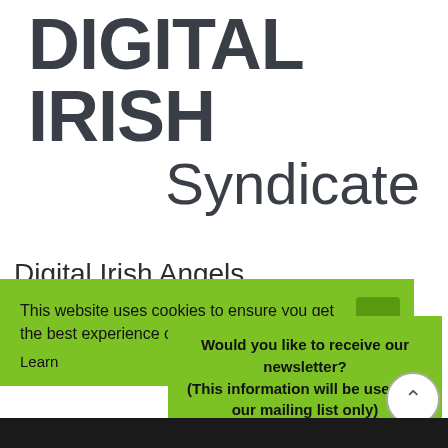DIGITAL IRISH Syndicate
Digital Irish Angels
This website uses cookies to ensure you get the best experience on our website.
Learn
Would you like to receive our newsletter? (This information will be used for our mailing list only)
Reply